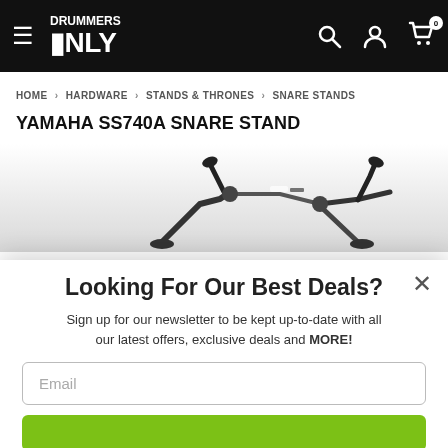Drummers Only — navigation header with hamburger menu, logo, search, account, and cart icons
HOME › HARDWARE › STANDS & THRONES › SNARE STANDS
YAMAHA SS740A SNARE STAND
[Figure (photo): Partial image of the Yamaha SS740A snare stand hardware against a light gradient background, showing the drum cradle and legs]
Looking For Our Best Deals?
Sign up for our newsletter to be kept up-to-date with all our latest offers, exclusive deals and MORE!